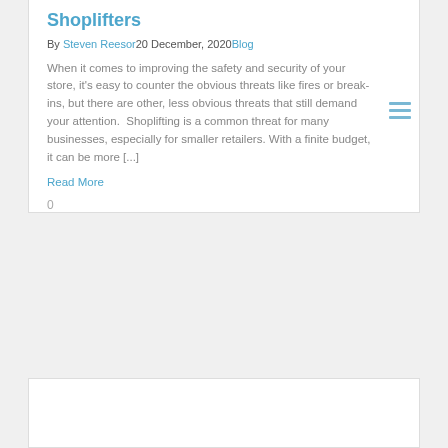Shoplifters
By Steven Reesor 20 December, 2020 Blog
When it comes to improving the safety and security of your store, it's easy to counter the obvious threats like fires or break-ins, but there are other, less obvious threats that still demand your attention.  Shoplifting is a common threat for many businesses, especially for smaller retailers. With a finite budget, it can be more [...]
Read More
0